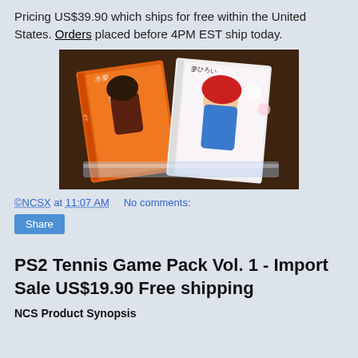Pricing US$39.90 which ships for free within the United States. Orders placed before 4PM EST ship today.
[Figure (photo): Two Japanese anime video game cases (Dreamcast) displayed on a dark wooden surface, one orange and one featuring a red-haired character]
©NCSX at 11:07 AM    No comments:
Share
PS2 Tennis Game Pack Vol. 1 - Import Sale US$19.90 Free shipping
NCS Product Synopsis